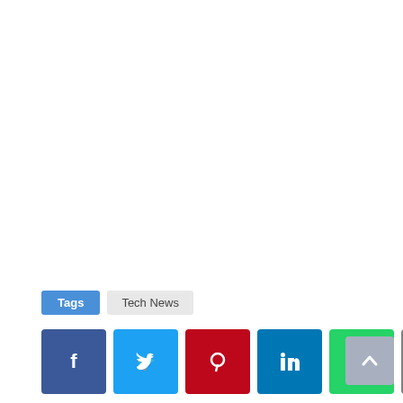Tags   Tech News
[Figure (infographic): Social share buttons: Facebook, Twitter, Pinterest, LinkedIn, WhatsApp, Email]